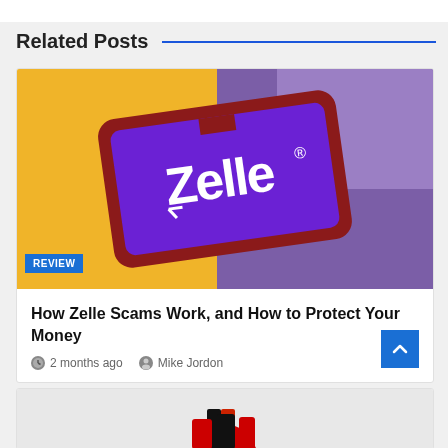Related Posts
[Figure (photo): Smartphone displaying Zelle app logo (purple screen with white Zelle wordmark and registered trademark symbol) against a yellow and purple background. A blue 'REVIEW' badge overlays the bottom-left corner of the image.]
How Zelle Scams Work, and How to Protect Your Money
2 months ago   Mike Jordon
[Figure (photo): Partial image of what appears to be a person or object, cropped at the bottom of the page.]